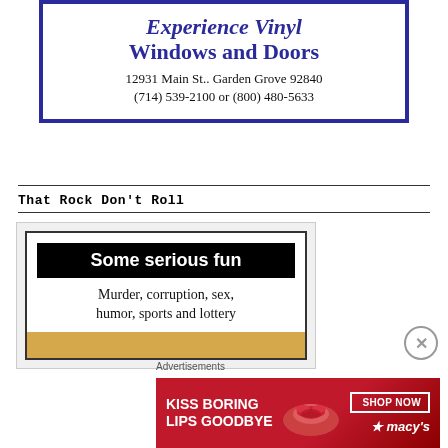[Figure (other): Advertisement for vinyl windows and doors with blue border showing company name Experience Vinyl Windows and Doors, address 12931 Main St., Garden Grove 92840, phone (714) 539-2100 or (800) 480-5633]
That Rock Don't Roll
[Figure (other): Advertisement with black header reading 'Some serious fun', tagline 'Murder, corruption, sex, humor, sports and lottery', and a gold bar at bottom]
[Figure (other): Macy's advertisement: KISS BORING LIPS GOODBYE with SHOP NOW button and Macy's logo on red background]